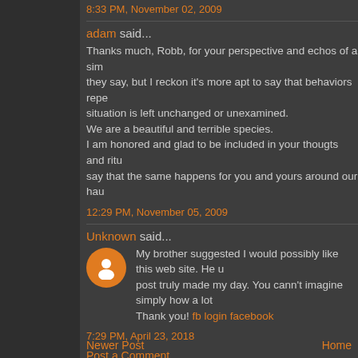8:33 PM, November 02, 2009
adam said...
Thanks much, Robb, for your perspective and echos of a sim they say, but I reckon it's more apt to say that behaviors repe situation is left unchanged or unexamined.
We are a beautiful and terrible species.
I am honored and glad to be included in your thougts and ritu say that the same happens for you and yours around our hau
12:29 PM, November 05, 2009
Unknown said...
My brother suggested I would possibly like this web site. He u post truly made my day. You cann't imagine simply how a lot Thank you! fb login facebook
7:29 PM, April 23, 2018
Post a Comment
Newer Post
Home